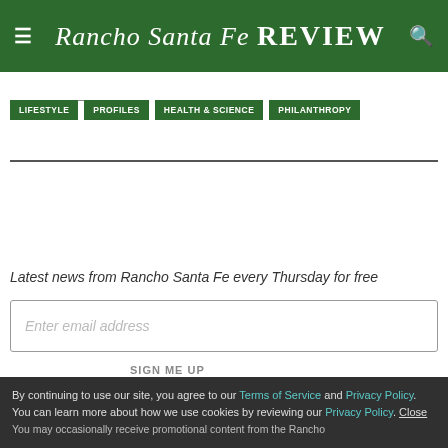Rancho Santa Fe Review
LIFESTYLE
PROFILES
HEALTH & SCIENCE
PHILANTHROPY
Latest news from Rancho Santa Fe every Thursday for free
Enter email address
SIGN ME UP
By continuing to use our site, you agree to our Terms of Service and Privacy Policy. You can learn more about how we use cookies by reviewing our Privacy Policy. Close
You may occasionally receive promotional content from the Rancho